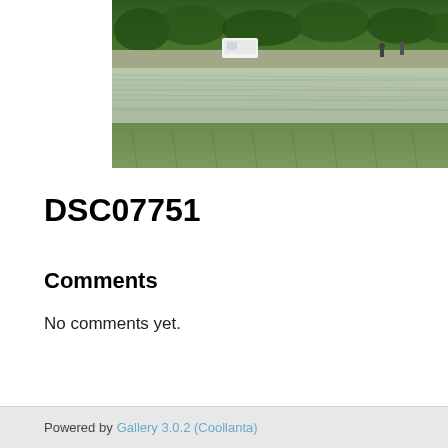[Figure (photo): Outdoor landscape photo showing a flooded rice paddy field with green grass, a road, trees, a white van, and people in the background under an overcast sky.]
DSC07751
Comments
No comments yet.
Powered by Gallery 3.0.2 (Coollanta)